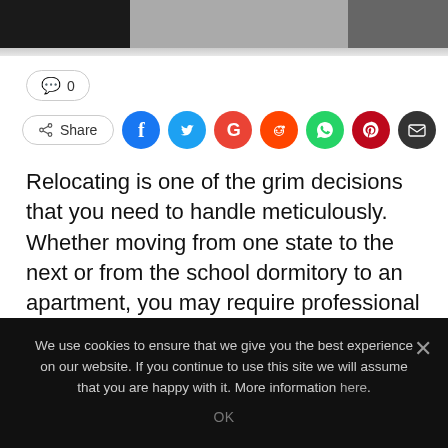[Figure (photo): Dark/grey photo bar at top of page, partial image of feet/floor]
💬 0
Share [social buttons: Facebook, Twitter, Google+, Reddit, WhatsApp, Pinterest, Email]
Relocating is one of the grim decisions that you need to handle meticulously. Whether moving from one state to the next or from the school dormitory to an apartment, you may require professional handling of your cargo to avoid mistakes that will amount to losses or damages.
We use cookies to ensure that we give you the best experience on our website. If you continue to use this site we will assume that you are happy with it. More information here.
OK